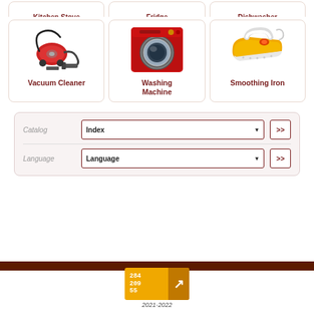[Figure (illustration): Partial top row with Kitchen Stove, Fridge, Dishwasher appliance cards (cropped at top)]
[Figure (illustration): Three appliance cards: Vacuum Cleaner (red canister vacuum), Washing Machine (red front-loader), Smoothing Iron (orange iron)]
Vacuum Cleaner
Washing Machine
Smoothing Iron
Catalog  Index  >>
Language  Language  >>
284
209
55
2021-2022